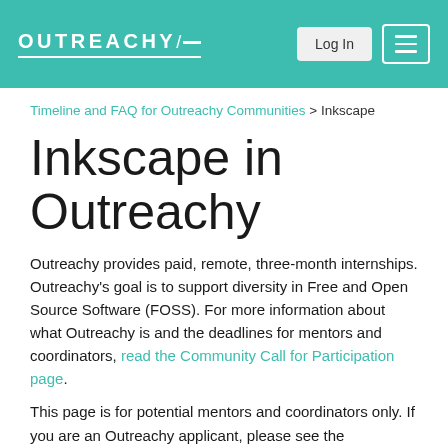OUTREACHY | Log In | [menu]
Timeline and FAQ for Outreachy Communities > Inkscape
Inkscape in Outreachy
Outreachy provides paid, remote, three-month internships. Outreachy's goal is to support diversity in Free and Open Source Software (FOSS). For more information about what Outreachy is and the deadlines for mentors and coordinators, read the Community Call for Participation page.
This page is for potential mentors and coordinators only. If you are an Outreachy applicant, please see the application